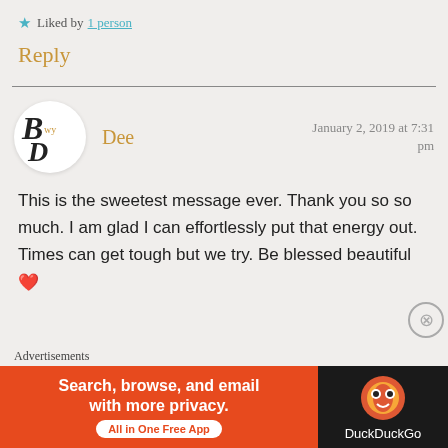★ Liked by 1 person
Reply
Dee
January 2, 2019 at 7:31 pm
This is the sweetest message ever. Thank you so so much. I am glad I can effortlessly put that energy out. Times can get tough but we try. Be blessed beautiful ❤
[Figure (other): DuckDuckGo advertisement banner with orange background, text 'Search, browse, and email with more privacy. All in One Free App' and DuckDuckGo logo on dark background]